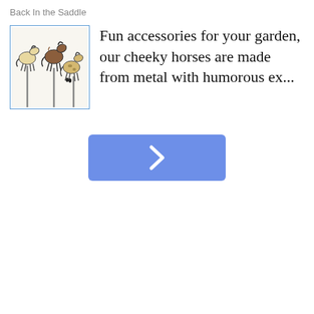Back In the Saddle
[Figure (photo): Three metal horse garden stake figurines with humorous expressions, mounted on poles]
Fun accessories for your garden, our cheeky horses are made from metal with humorous ex...
[Figure (other): Blue rounded rectangle button with a white right-pointing chevron arrow]